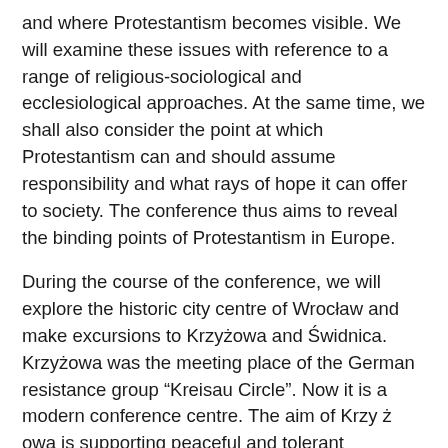and where Protestantism becomes visible. We will examine these issues with reference to a range of religious-sociological and ecclesiological approaches. At the same time, we shall also consider the point at which Protestantism can and should assume responsibility and what rays of hope it can offer to society. The conference thus aims to reveal the binding points of Protestantism in Europe.
During the course of the conference, we will explore the historic city centre of Wrocław and make excursions to Krzyżowa and Świdnica. Krzyżowa was the meeting place of the German resistance group "Kreisau Circle". Now it is a modern conference centre. The aim of Krzy ż owa is supporting peaceful and tolerant existence of nations, social groups, and individuals in Europe. Ś widnica is located 8 km from Krzyżowa. In Świdnica we will visit the Church of Peace. It is named after the peace of Westphalia 1648 that permitted the Lutherans in the Roman Catholic Parts of Silesia to build churches.